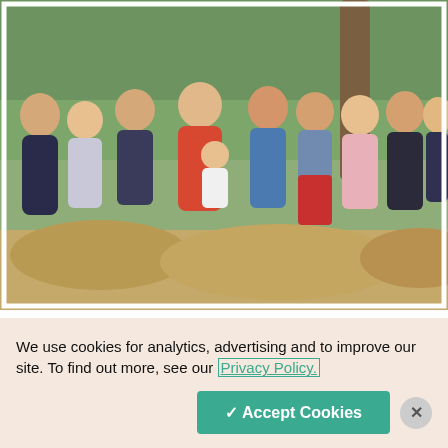[Figure (photo): A group family photo of a woman in a red/coral jacket and about ten children of various ages, all dressed formally, sitting together on a low stone wall outdoors with trees and grass in the background.]
PODCASTS
How the answers to 2 prayers helped one woman find joy after
We use cookies for analytics, advertising and to improve our site. To find out more, see our Privacy Policy.
✓ Accept Cookies